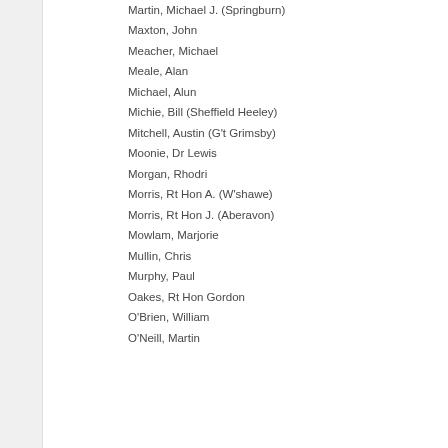Martin, Michael J. (Springburn)
Maxton, John
Meacher, Michael
Meale, Alan
Michael, Alun
Michie, Bill (Sheffield Heeley)
Mitchell, Austin (G't Grimsby)
Moonie, Dr Lewis
Morgan, Rhodri
Morris, Rt Hon A. (W'shawe)
Morris, Rt Hon J. (Aberavon)
Mowlam, Marjorie
Mullin, Chris
Murphy, Paul
Oakes, Rt Hon Gordon
O'Brien, William
O'Neill, Martin